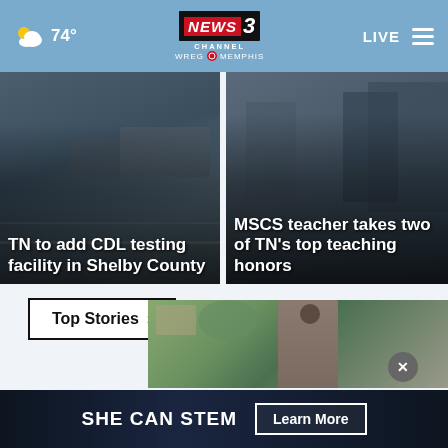74° | NEWS CHANNEL 3 WREG MEMPHIS | LIVE
[Figure (screenshot): News card: TN to add CDL testing facility in Shelby County — truck/road background image]
[Figure (screenshot): News card: MSCS teacher takes two of TN's top teaching honors — people background image]
Top Stories ›
[Figure (photo): Photo of a woman outdoors with suburban background]
[Figure (infographic): SHE CAN STEM advertisement banner with 'Learn More' button and close X button]